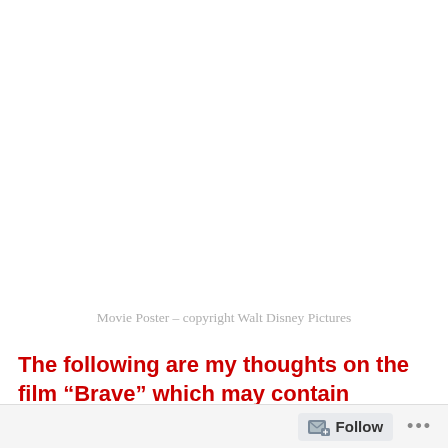Movie Poster – copyright Walt Disney Pictures
The following are my thoughts on the film “Brave” which may contain spoilers.  Please skip to the very end if you haven't seen the film and don’t want anything ruined!
Follow